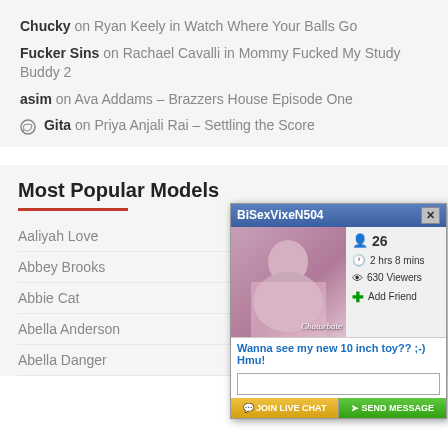Chucky on Ryan Keely in Watch Where Your Balls Go
Fucker Sins on Rachael Cavalli in Mommy Fucked My Study Buddy 2
asim on Ava Addams – Brazzers House Episode One
Gita on Priya Anjali Rai – Settling the Score
Most Popular Models
Aaliyah Love
Abbey Brooks
Abbie Cat
Abella Anderson
Abella Danger
[Figure (screenshot): Popup ad for BiSexVixeN504 on Chaturbate showing age 26, 2 hrs 8 mins online, 630 Viewers, Add Friend button, message text, input box, JOIN LIVE CHAT and SEND MESSAGE buttons]